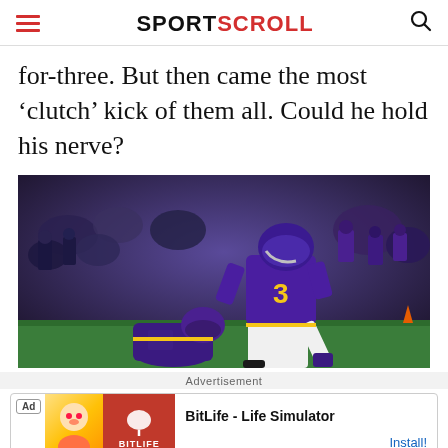SPORTSCROLL
for-three. But then came the most ‘clutch’ kick of them all. Could he hold his nerve?
[Figure (photo): Minnesota Vikings kicker wearing jersey #3 in purple uniform mid-kick on a football field, with a holder crouching in front, crowd in background]
Advertisement
Ad - BitLife - Life Simulator - Install!